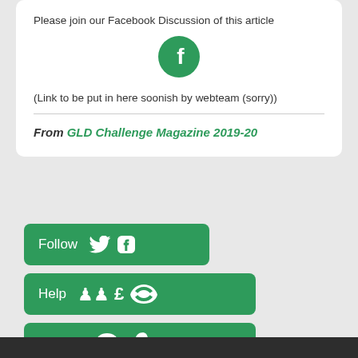Please join our Facebook Discussion of this article
[Figure (logo): Green circle with white Facebook 'f' icon]
(Link to be put in here soonish by webteam (sorry))
From GLD Challenge Magazine 2019-20
Follow [Twitter icon] [Facebook icon]
Help [person icons] [£ icon] [Lib Dem bird icon]
Interact [chat icon] [phone icon]